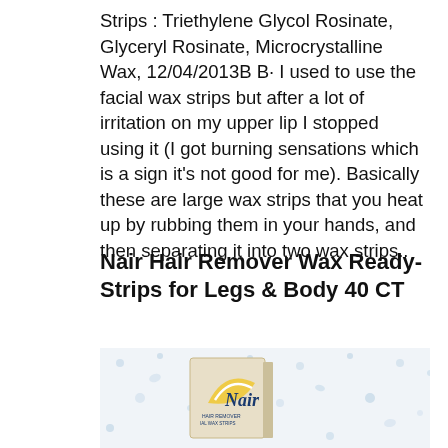Strips : Triethylene Glycol Rosinate, Glyceryl Rosinate, Microcrystalline Wax, 12/04/2013B B· I used to use the facial wax strips but after a lot of irritation on my upper lip I stopped using it (I got burning sensations which is a sign it's not good for me). Basically these are large wax strips that you heat up by rubbing them in your hands, and then separating it into two wax strips..
Nair Hair Remover Wax Ready-Strips for Legs & Body 40 CT
[Figure (photo): Photo of Nair Hair Remover Wax Strips product box on a floral patterned background, showing the Nair logo with a yellow and white curved design]